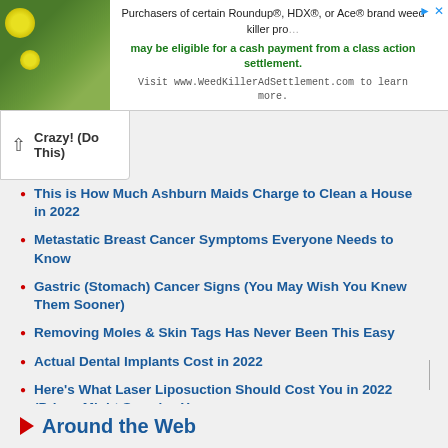[Figure (other): Advertisement banner with flower/plant photo on left and text about Roundup weed killer class action settlement on right]
Crazy! (Do This)
This is How Much Ashburn Maids Charge to Clean a House in 2022
Metastatic Breast Cancer Symptoms Everyone Needs to Know
Gastric (Stomach) Cancer Signs (You May Wish You Knew Them Sooner)
Removing Moles & Skin Tags Has Never Been This Easy
Actual Dental Implants Cost in 2022
Here's What Laser Liposuction Should Cost You in 2022 (Prices Might Surprise You
If You Believe in God, Watch This
Around the Web